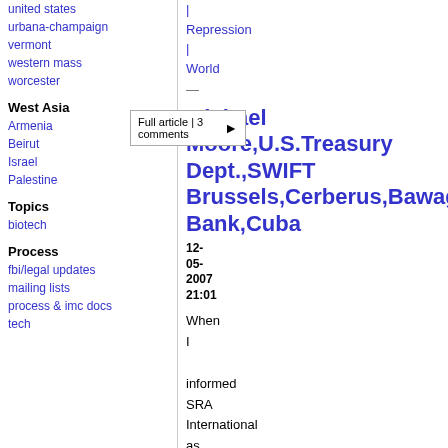united states
urbana-champaign
vermont
western mass
worcester
West Asia
Armenia
Beirut
Israel
Palestine
Topics
biotech
Process
fbi/legal updates
mailing lists
process & imc docs
tech
Repression
World
Michael Moore,U.S.Treasury Dept.,SWIFT Brussels,Cerberus,Bawag Bank,Cuba
12-05-2007 21:01
When I informed SRA International as well as their 'spinoff' Mantas ...